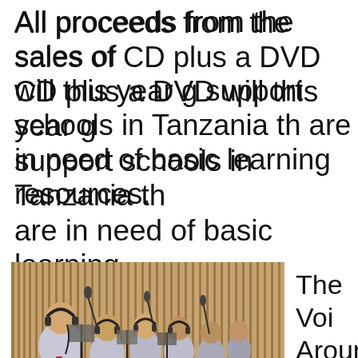All proceeds from the sales of CD plus a DVD will this year go to support schools in Tanzania that are in need of basic learning resources.
[Figure (photo): Group of children wearing headphones standing in a recording studio, holding sheet music on stands, with wooden acoustic paneling in the background.]
The Voices Around the World project, which is